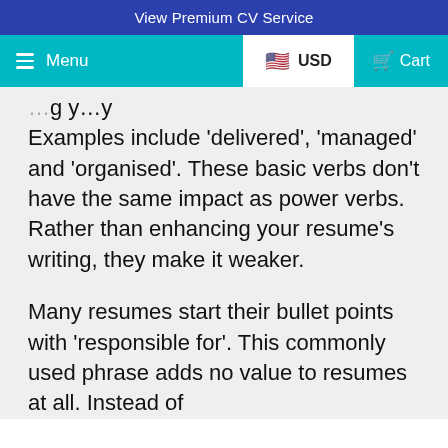View Premium CV Service
Menu   USD   Cart
Examples include ‘delivered’, ‘managed’ and ‘organised’. These basic verbs don't have the same impact as power verbs. Rather than enhancing your resume’s writing, they make it weaker.
Many resumes start their bullet points with ‘responsible for’. This commonly used phrase adds no value to resumes at all. Instead of